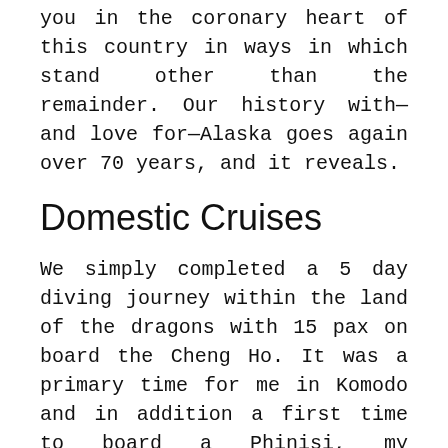you in the coronary heart of this country in ways in which stand other than the remainder. Our history with—and love for—Alaska goes again over 70 years, and it reveals.
Domestic Cruises
We simply completed a 5 day diving journey within the land of the dragons with 15 pax on board the Cheng Ho. It was a primary time for me in Komodo and in addition a first time to board a Phinisi, my expectations of the boat, the crew, and the dive websites have been met with greater than what I had expected. As